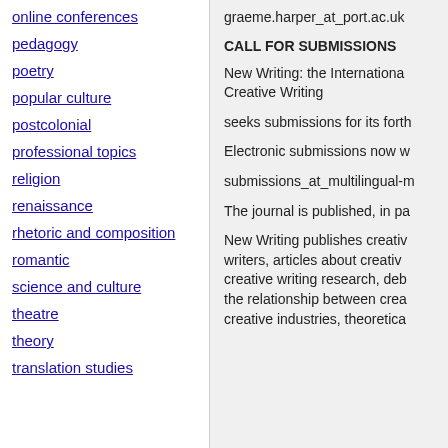online conferences
pedagogy
poetry
popular culture
postcolonial
professional topics
religion
renaissance
rhetoric and composition
romantic
science and culture
theatre
theory
translation studies
graeme.harper_at_port.ac.uk
CALL FOR SUBMISSIONS
New Writing: the Internationa Creative Writing
seeks submissions for its forth
Electronic submissions now w
submissions_at_multilingual-m
The journal is published, in pa
New Writing publishes creativ writers, articles about creativ creative writing research, deb the relationship between crea creative industries, theoretica